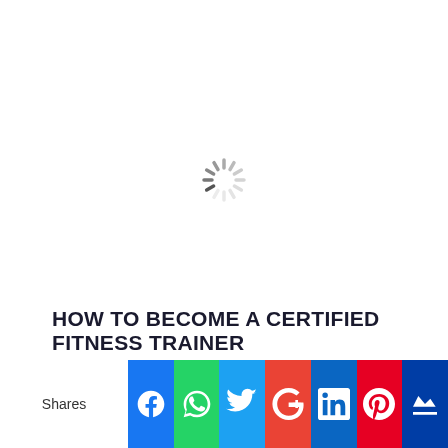[Figure (other): Loading spinner (circular dashed spinner icon) centered in white area]
HOW TO BECOME A CERTIFIED FITNESS TRAINER
[Figure (infographic): Social media share bar with Facebook, WhatsApp, Twitter, Google+, LinkedIn, Pinterest, and Monarch buttons. Shares label on left.]